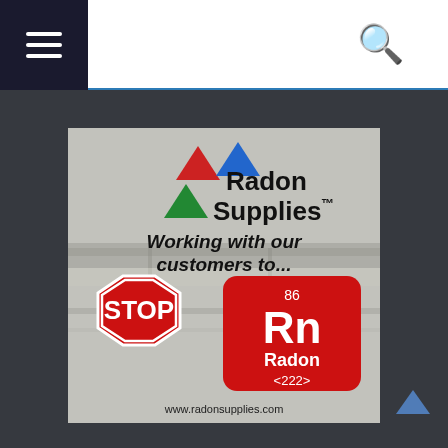[Figure (logo): Navigation bar with hamburger menu icon on dark background on left, and search icon on right]
[Figure (illustration): Radon Supplies advertisement on dark background. Shows logo with colored triangles (red, blue, green), company name 'Radon Supplies', tagline 'Working with our customers to...', a STOP sign on left, and a red periodic-table-style element tile for Rn Radon 86 <222> on right, with website www.radonsupplies.com at bottom. Background shows concrete/block wall texture.]